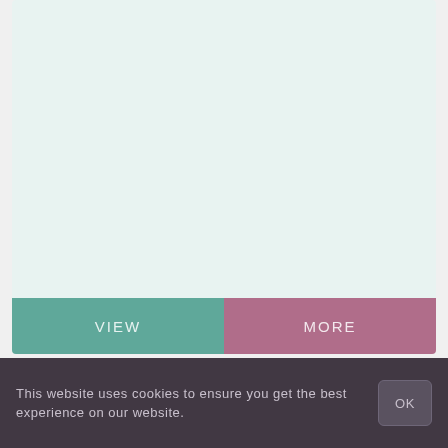[Figure (other): Large light mint/teal colored rectangular area, blank content area of a webpage]
VIEW
MORE
This website uses cookies to ensure you get the best experience on our website.
OK